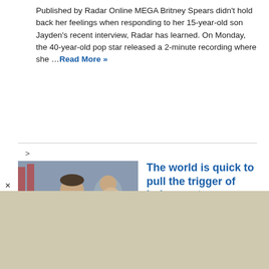Published by Radar Online MEGA Britney Spears didn't hold back her feelings when responding to her 15-year-old son Jayden's recent interview, Radar has learned. On Monday, the 40-year-old pop star released a 2-minute recording where she …Read More »
The world is quick to pull the trigger of judgement, says Colin Farrell
[Figure (photo): Colin Farrell in a grey checked suit with striped tie on a red carpet, with a woman in a patterned jacket behind him]
Published by BANG Showbiz English Colin Farrell believes the world is